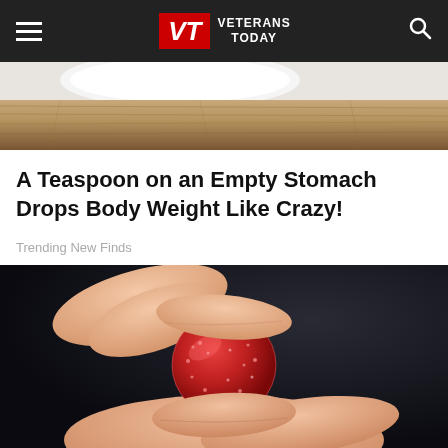VETERANS TODAY
[Figure (photo): Partial photo of a wooden surface or table top, cropped at the top of the page]
A Teaspoon on an Empty Stomach Drops Body Weight Like Crazy!
Trending New Finds
[Figure (photo): Close-up photo of fingers holding a small round red sugar-coated gummy candy/supplement against a dark background]